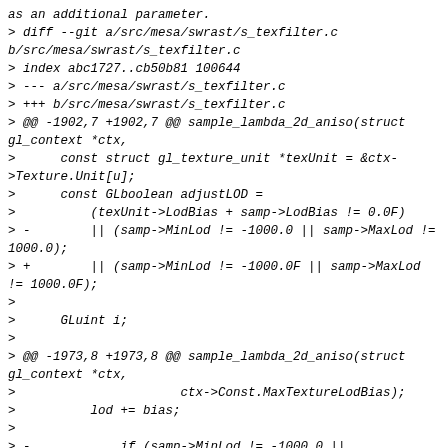as an additional parameter.
> diff --git a/src/mesa/swrast/s_texfilter.c b/src/mesa/swrast/s_texfilter.c
> index abc1727..cb50b81 100644
> --- a/src/mesa/swrast/s_texfilter.c
> +++ b/src/mesa/swrast/s_texfilter.c
> @@ -1902,7 +1902,7 @@ sample_lambda_2d_aniso(struct gl_context *ctx,
>      const struct gl_texture_unit *texUnit = &ctx->Texture.Unit[u];
>      const GLboolean adjustLOD =
>          (texUnit->LodBias + samp->LodBias != 0.0F)
> -        || (samp->MinLod != -1000.0 || samp->MaxLod != 1000.0);
> +        || (samp->MinLod != -1000.0F || samp->MaxLod != 1000.0F);
>
>      GLuint i;
>
> @@ -1973,8 +1973,8 @@ sample_lambda_2d_aniso(struct gl_context *ctx,
>                          ctx->Const.MaxTextureLodBias);
>              lod += bias;
>
> -            if (samp->MinLod != -1000.0 ||
> -                samp->MaxLod != 1000.0) {
> +            if (samp->MinLod != -1000.0F ||
> +                samp->MaxLod != 1000.0F) {
>              /* apply LOD clamping to lambda */
>              lod = CLAMP(lod, samp->MinLod, samp-